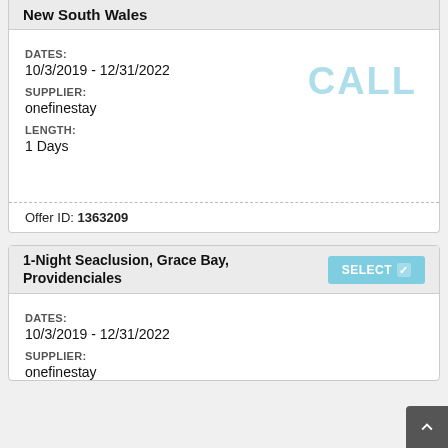New South Wales
DATES:
10/3/2019 - 12/31/2022
SUPPLIER:
onefinestay
LENGTH:
1 Days
CALL
Offer ID: 1363209
1-Night Seaclusion, Grace Bay, Providenciales
DATES:
10/3/2019 - 12/31/2022
SUPPLIER:
onefinestay